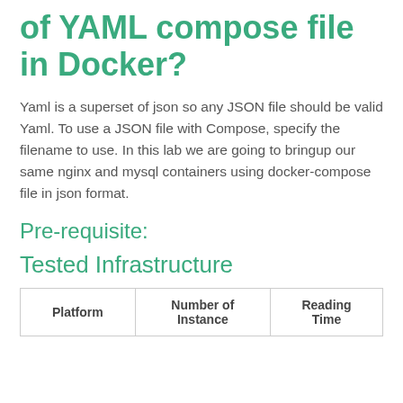of YAML compose file in Docker?
Yaml is a superset of json so any JSON file should be valid Yaml. To use a JSON file with Compose, specify the filename to use. In this lab we are going to bringup our same nginx and mysql containers using docker-compose file in json format.
Pre-requisite:
Tested Infrastructure
| Platform | Number of Instance | Reading Time |
| --- | --- | --- |